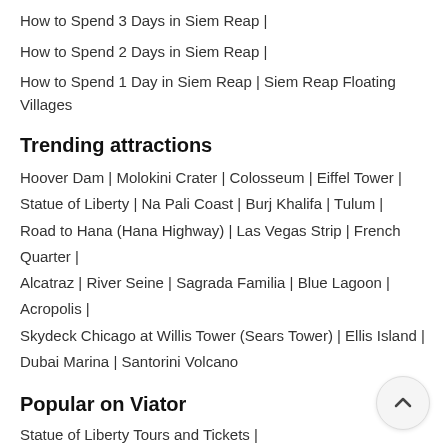How to Spend 3 Days in Siem Reap |
How to Spend 2 Days in Siem Reap |
How to Spend 1 Day in Siem Reap | Siem Reap Floating Villages
Trending attractions
Hoover Dam | Molokini Crater | Colosseum | Eiffel Tower | Statue of Liberty | Na Pali Coast | Burj Khalifa | Tulum | Road to Hana (Hana Highway) | Las Vegas Strip | French Quarter | Alcatraz | River Seine | Sagrada Familia | Blue Lagoon | Acropolis | Skydeck Chicago at Willis Tower (Sears Tower) | Ellis Island | Dubai Marina | Santorini Volcano
Popular on Viator
Statue of Liberty Tours and Tickets |
The White House Tours and Tickets |